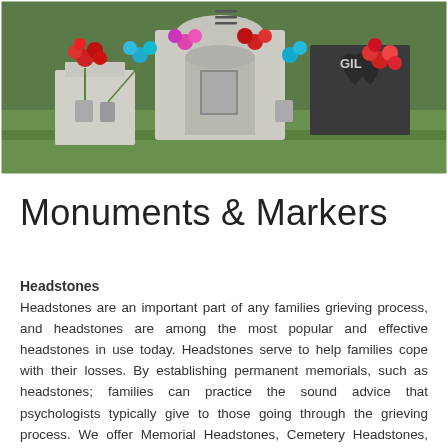[Figure (photo): Cemetery headstones and monuments decorated with colorful artificial flowers in red, pink, and blue/teal colors. Multiple granite markers visible with a grass lawn background.]
Monuments & Markers
Headstones
Headstones are an important part of any families grieving process, and headstones are among the most popular and effective headstones in use today. Headstones serve to help families cope with their losses. By establishing permanent memorials, such as headstones; families can practice the sound advice that psychologists typically give to those going through the grieving process. We offer Memorial Headstones, Cemetery Headstones, and Companion Headstones.